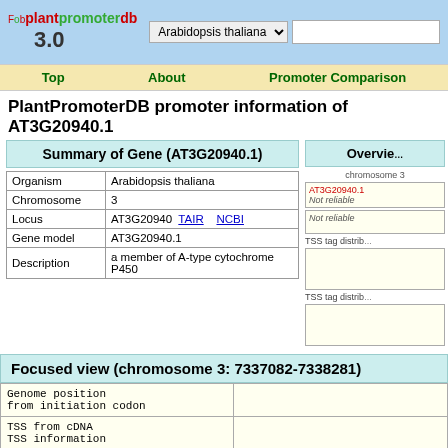plantpromoterdb 3.0 — Arabidopsis thaliana dropdown — Top | About | Promoter Comparison
PlantPromoterDB promoter information of AT3G20940.1
Summary of Gene (AT3G20940.1)
| Field | Value |
| --- | --- |
| Organism | Arabidopsis thaliana |
| Chromosome | 3 |
| Locus | AT3G20940  TAIR  NCBI |
| Gene model | AT3G20940.1 |
| Description | a member of A-type cytochrome P450 |
Overview
chromosome 3 — AT3G20940.1 — Not reliable — Not reliable — TSS tag distrib — TSS tag distrib
Focused view (chromosome 3: 7337082-7338281)
| Genome position from initiation codon |  |
| --- | --- |
| TSS from cDNA
TSS information |  |
| AT3G20940.1 ... Flat, Plt(s) |  |